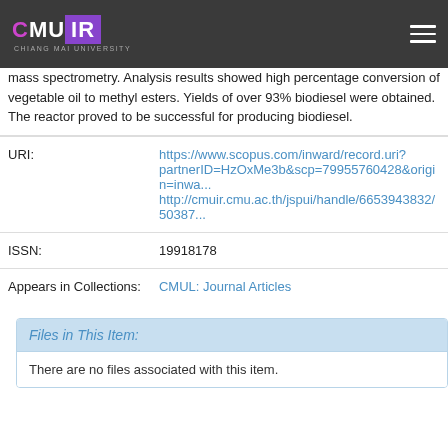CMU IR - Chiang Mai University
mass spectrometry. Analysis results showed high percentage conversion of vegetable oil to methyl esters. Yields of over 93% biodiesel were obtained. The reactor proved to be successful for producing biodiesel.
| URI: | https://www.scopus.com/inward/record.uri?partnerID=HzOxMe3b&scp=79955760428&origin=inwa...
http://cmuir.cmu.ac.th/jspui/handle/6653943832/50387... |
| ISSN: | 19918178 |
| Appears in Collections: | CMUL: Journal Articles |
Files in This Item:
There are no files associated with this item.